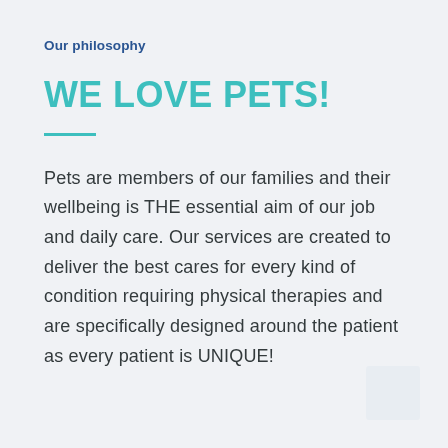Our philosophy
WE LOVE PETS!
Pets are members of our families and their wellbeing is THE essential aim of our job and daily care. Our services are created to deliver the best cares for every kind of condition requiring physical therapies and are specifically designed around the patient as every patient is UNIQUE!